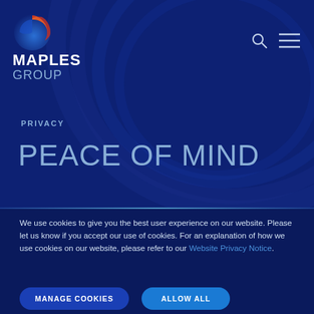[Figure (logo): Maples Group logo with circular gradient icon (blue, orange, red) above the text MAPLES GROUP]
MAPLES GROUP
PRIVACY
PEACE OF MIND
We use cookies to give you the best user experience on our website. Please let us know if you accept our use of cookies. For an explanation of how we use cookies on our website, please refer to our Website Privacy Notice.
MANAGE COOKIES
ALLOW ALL